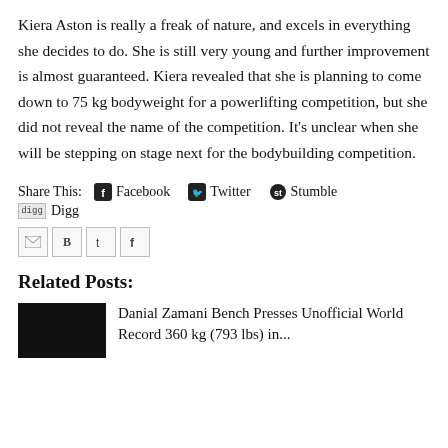Kiera Aston is really a freak of nature, and excels in everything she decides to do. She is still very young and further improvement is almost guaranteed. Kiera revealed that she is planning to come down to 75 kg bodyweight for a powerlifting competition, but she did not reveal the name of the competition. It's unclear when she will be stepping on stage next for the bodybuilding competition.
Share This: Facebook Twitter Stumble Digg
[Figure (screenshot): Email, Blogger, Twitter, Facebook share icon buttons row; back-to-top button (dark rounded square with chevron up)]
Related Posts:
Danial Zamani Bench Presses Unofficial World Record 360 kg (793 lbs) in...